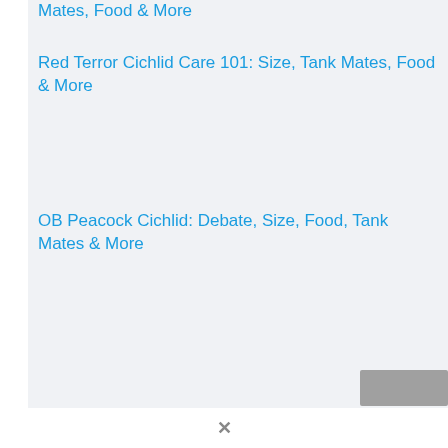Mates, Food & More
Red Terror Cichlid Care 101: Size, Tank Mates, Food & More
OB Peacock Cichlid: Debate, Size, Food, Tank Mates & More